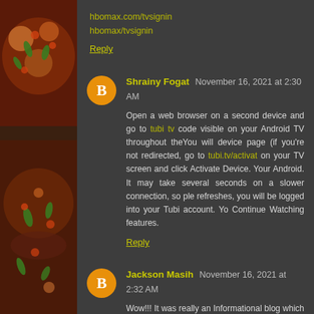hbomax.com/tvsignin
hbomax/tvsignin
Reply
Shrainy Fogat  November 16, 2021 at 2:30 AM
Open a web browser on a second device and go to tubi tv code visible on your Android TV throughout theYou will device page (if you're not redirected, go to tubi.tv/activat on your TV screen and click Activate Device. Your Android. It may take several seconds on a slower connection, so ple refreshes, you will be logged into your Tubi account. Yo Continue Watching features.
Reply
Jackson Masih  November 16, 2021 at 2:32 AM
Wow!!! It was really an Informational blog which provide n I keep reading good content about. nAre you looking for t the right place. In recent times,twitch tv activaten it has be So, let us move forward to see the requirements to get int twitch.tv/activate